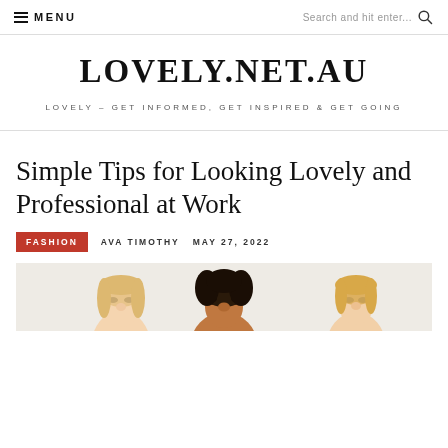≡ MENU   Search and hit enter... 🔍
LOVELY.NET.AU
LOVELY – GET INFORMED, GET INSPIRED & GET GOING
Simple Tips for Looking Lovely and Professional at Work
FASHION   AVA TIMOTHY   MAY 27, 2022
[Figure (photo): Three women smiling, cropped at shoulders, light background]